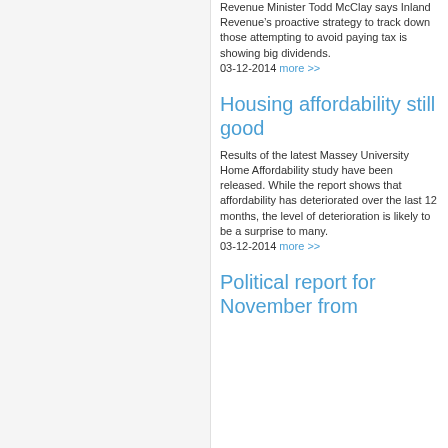Revenue Minister Todd McClay says Inland Revenue’s proactive strategy to track down those attempting to avoid paying tax is showing big dividends. 03-12-2014 more >>
Housing affordability still good
Results of the latest Massey University Home Affordability study have been released. While the report shows that affordability has deteriorated over the last 12 months, the level of deterioration is likely to be a surprise to many. 03-12-2014 more >>
Political report for November from